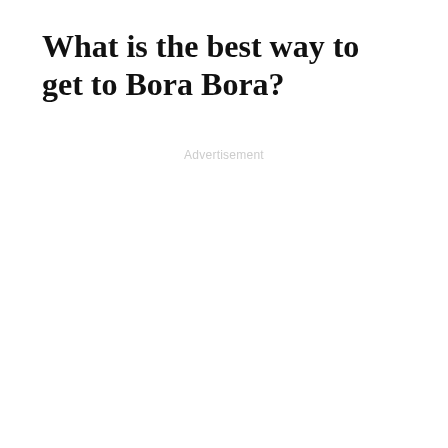What is the best way to get to Bora Bora?
Advertisement